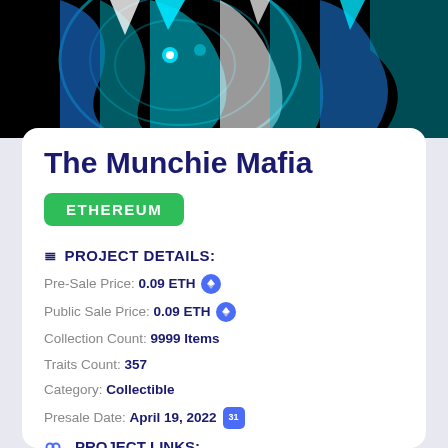[Figure (illustration): NFT digital art banner showing abstract wolves with cyan, blue, and white swirling colors on black background]
The Munchie Mafia
ETHEREUM
PROJECT DETAILS:
Pre-Sale Price: 0.09 ETH
Public Sale Price: 0.09 ETH
Collection Count: 9999 Items
Traits Count: 357
Category: Collectible
Presale Date: April 19, 2022
PROJECT LINKS: